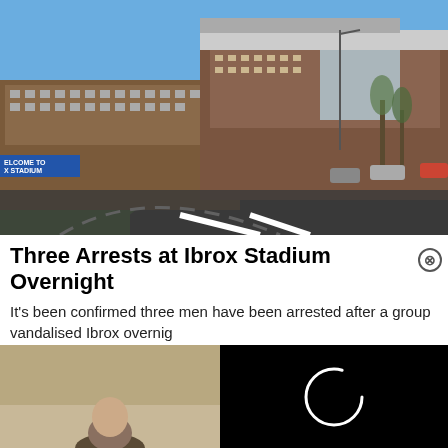[Figure (photo): Exterior photo of Ibrox Stadium on a clear blue sky day, showing the red brick main stand building with street and roads in the foreground. A 'Welcome to Ibrox Stadium' sign is visible on the left.]
Three Arrests at Ibrox Stadium Overnight
It's been confirmed three men have been arrested after a group vandalised Ibrox overnig
Celts Are Here
[Figure (photo): Partial photo of a person from behind, in a room with beige/cream walls.]
[Figure (other): Black video loading overlay with a white circular loading spinner icon in the centre.]